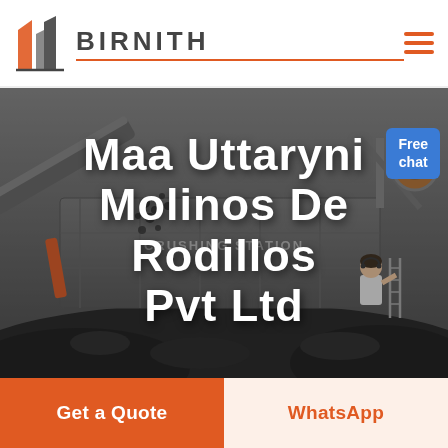BIRNITH
[Figure (photo): Industrial crushing station machinery with coal/ore material, dark industrial background with heavy equipment]
Maa Uttaryni Molinos De Rodillos Pvt Ltd
Free chat
Get a Quote
WhatsApp